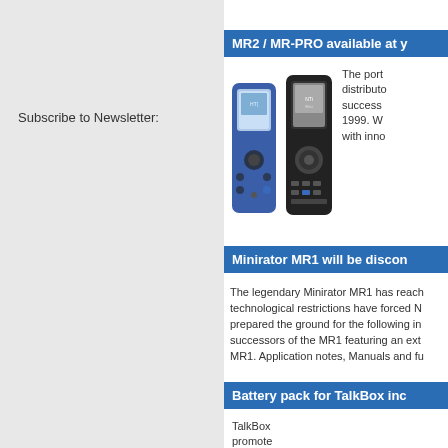Subscribe to Newsletter:
MR2 / MR-PRO available at y…
[Figure (photo): Two handheld audio measurement devices (MR2 and MR-PRO) side by side]
The port… distributo… success… 1999. W… with inno…
Minirator MR1 will be discon…
The legendary Minirator MR1 has reach… technological restrictions have forced N… prepared the ground for the following in… successors of the MR1 featuring an ext… MR1. Application notes, Manuals and fu…
Battery pack for TalkBox inc…
TalkBox … promote… pack for … pack sup…